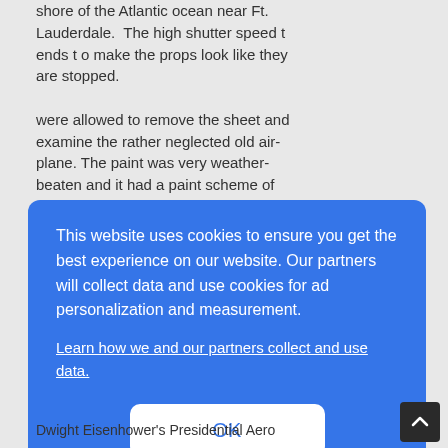shore of the Atlantic ocean near Ft. Lauderdale.  The high shutter speed t ends t o make the props look like they are stopped.
were allowed to remove the sheet and examine the rather neglected old airplane. The paint was very weather-beaten and it had a paint scheme of yellowish white, dayglo orange and brown e ngine nace lles. The interior seats
[Figure (screenshot): Cookie consent overlay banner with blue background. Text reads: 'This website uses cookies to ensure you get the best experience on our website. Our partners will collect data and use cookies for ad personalization and measurement.' A link: 'Learn how we and our partners collect and use data.' An OK button in white with blue text.]
Dwight Eisenhower's Presidential Aero